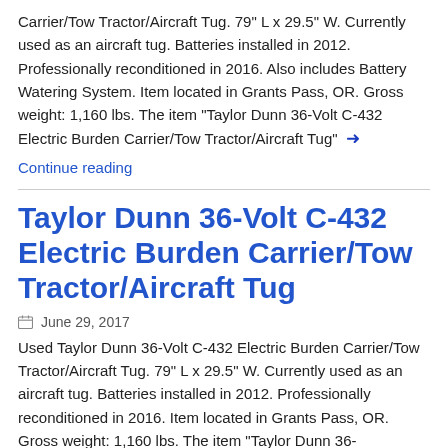Carrier/Tow Tractor/Aircraft Tug. 79" L x 29.5" W. Currently used as an aircraft tug. Batteries installed in 2012. Professionally reconditioned in 2016. Also includes Battery Watering System. Item located in Grants Pass, OR. Gross weight: 1,160 lbs. The item "Taylor Dunn 36-Volt C-432 Electric Burden Carrier/Tow Tractor/Aircraft Tug" →
Continue reading
Taylor Dunn 36-Volt C-432 Electric Burden Carrier/Tow Tractor/Aircraft Tug
June 29, 2017
Used Taylor Dunn 36-Volt C-432 Electric Burden Carrier/Tow Tractor/Aircraft Tug. 79" L x 29.5" W. Currently used as an aircraft tug. Batteries installed in 2012. Professionally reconditioned in 2016. Item located in Grants Pass, OR. Gross weight: 1,160 lbs. The item "Taylor Dunn 36-